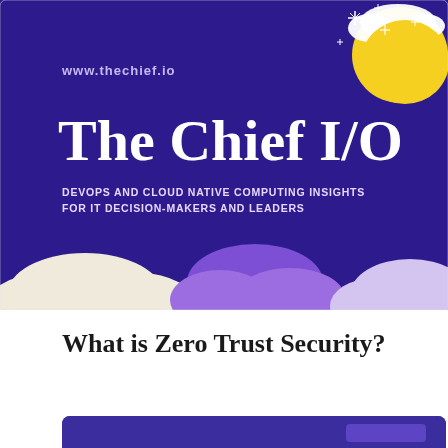[Figure (illustration): The Chief I/O brand banner with deep purple/indigo background. Top-right has a yellow moon with sparkle stars and a white cloud. Text reads 'www.thechief.io' in light purple, 'The Chief I/O' in large white bold serif font, and 'DEVOPS AND CLOUD NATIVE COMPUTING INSIGHTS FOR IT DECISION-MAKERS AND LEADERS' in white small caps. Bottom portion shows decorative clouds: cream/white on left, medium purple in center, light purple on right.]
What is Zero Trust Security?
[Figure (screenshot): Partial view of another purple-background card/article preview at the bottom of the page, cropped.]